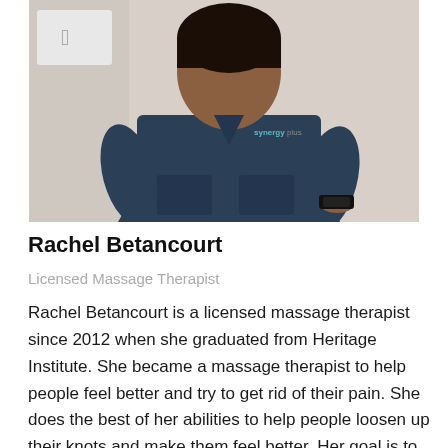[Figure (photo): Professional headshot of Rachel Betancourt wearing dark navy scrubs with a 'synergy' logo on the chest, standing in front of a white background with an Apple computer visible. She is a woman of color with her hands in her scrub pockets and wearing a smartwatch.]
Rachel Betancourt
Licensed Massage Therapist
Rachel Betancourt is a licensed massage therapist since 2012 when she graduated from Heritage Institute. She became a massage therapist to help people feel better and try to get rid of their pain. She does the best of her abilities to help people loosen up their knots and make them feel better. Her goal is to have